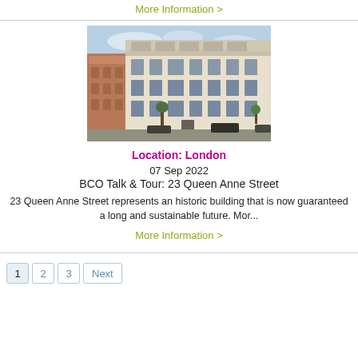More Information >
[Figure (photo): Exterior photograph of a large white/cream classical stone building at 23 Queen Anne Street, London, with cars and trees visible on the street below, blue sky in background.]
Location: London
07 Sep 2022
BCO Talk & Tour: 23 Queen Anne Street
23 Queen Anne Street represents an historic building that is now guaranteed a long and sustainable future. Mor...
More Information >
1 2 3 Next